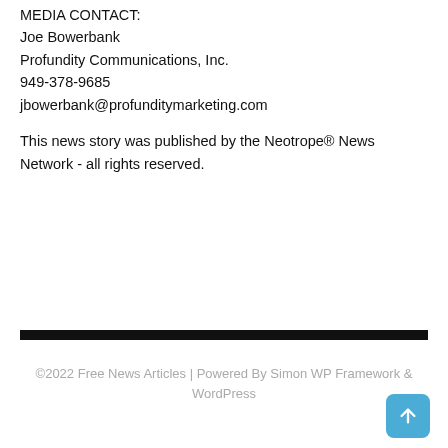MEDIA CONTACT:
Joe Bowerbank
Profundity Communications, Inc.
949-378-9685
jbowerbank@profunditymarketing.com
This news story was published by the Neotrope® News Network - all rights reserved.
©2022 Free News Articles | Powered By Simon WP Framework & WordPress